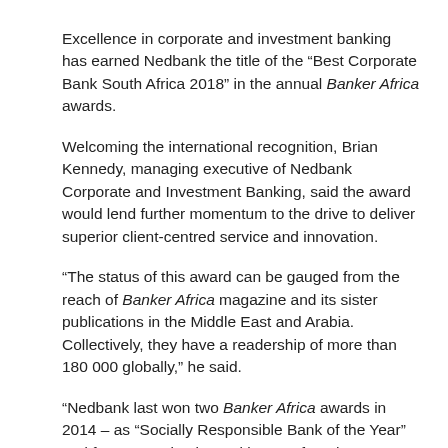Excellence in corporate and investment banking has earned Nedbank the title of the “Best Corporate Bank South Africa 2018” in the annual Banker Africa awards.
Welcoming the international recognition, Brian Kennedy, managing executive of Nedbank Corporate and Investment Banking, said the award would lend further momentum to the drive to deliver superior client-centred service and innovation.
“The status of this award can be gauged from the reach of Banker Africa magazine and its sister publications in the Middle East and Arabia. Collectively, they have a readership of more than 180 000 globally,” he said.
“Nedbank last won two Banker Africa awards in 2014 – as “Socially Responsible Bank of the Year” and for “Innovation in Banking”. Before that, Nedbank last won…